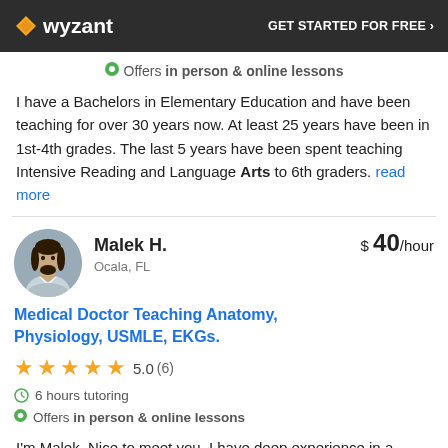wyzant | GET STARTED FOR FREE ›
Offers in person & online lessons
I have a Bachelors in Elementary Education and have been teaching for over 30 years now. At least 25 years have been in 1st-4th grades. The last 5 years have been spent teaching Intensive Reading and Language Arts to 6th graders. read more
Malek H. | Ocala, FL | $40/hour
Medical Doctor Teaching Anatomy, Physiology, USMLE, EKGs.
5.0 (6)
6 hours tutoring
Offers in person & online lessons
I'm Malek. Nice to meet you. I have deep experience in a variety of subjects, including medicine, and traditional language, Karate